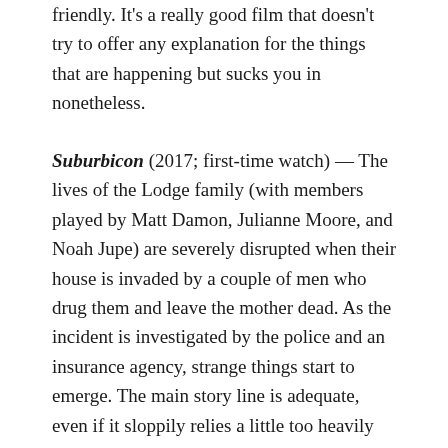friendly. It's a really good film that doesn't try to offer any explanation for the things that are happening but sucks you in nonetheless.
Suburbicon (2017; first-time watch) — The lives of the Lodge family (with members played by Matt Damon, Julianne Moore, and Noah Jupe) are severely disrupted when their house is invaded by a couple of men who drug them and leave the mother dead. As the incident is investigated by the police and an insurance agency, strange things start to emerge. The main story line is adequate, even if it sloppily relies a little too heavily on deus ex machina, but it's weirdly interspersed with a second storyline about a black family being made to feel unwelcome when they move into a formerly all-white neighborhood, and all of that footage feels very out of place.